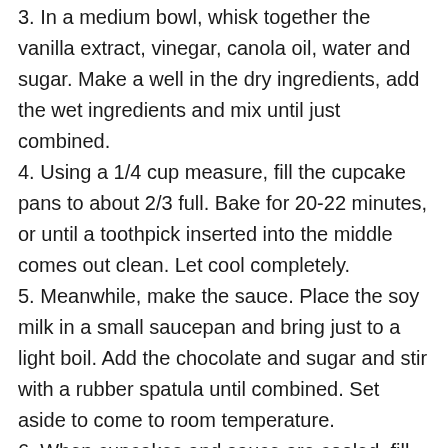3. In a medium bowl, whisk together the vanilla extract, vinegar, canola oil, water and sugar. Make a well in the dry ingredients, add the wet ingredients and mix until just combined.
4. Using a 1/4 cup measure, fill the cupcake pans to about 2/3 full. Bake for 20-22 minutes, or until a toothpick inserted into the middle comes out clean. Let cool completely.
5. Meanwhile, make the sauce. Place the soy milk in a small saucepan and bring just to a light boil. Add the chocolate and sugar and stir with a rubber spatula until combined. Set aside to come to room temperature.
6. When cupcakes and sauce are cooled, fill the cupcakes. Put the sauce in a pastry bag fitted with a medium round tip. Poke a finger into the middle of each cupcake and move it around to make a cavity. Fill the cavity with a small amount of sauce and drizzle with